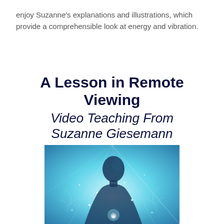enjoy Suzanne's explanations and illustrations, which provide a comprehensible look at energy and vibration.
A Lesson in Remote Viewing
Video Teaching From Suzanne Giesemann
[Figure (photo): A glowing cyan/blue ethereal silhouette of a person looking upward, with cosmic light rays and sparkles, suggesting spiritual or metaphysical energy.]